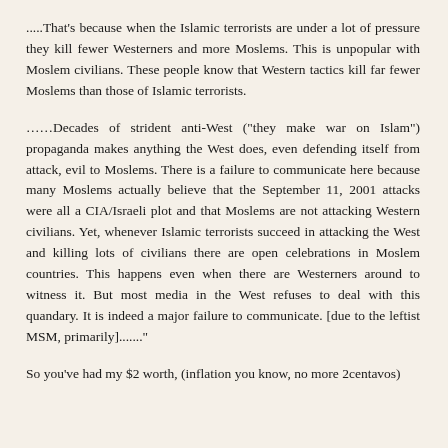.....That's because when the Islamic terrorists are under a lot of pressure they kill fewer Westerners and more Moslems. This is unpopular with Moslem civilians. These people know that Western tactics kill far fewer Moslems than those of Islamic terrorists.
……Decades of strident anti-West ("they make war on Islam") propaganda makes anything the West does, even defending itself from attack, evil to Moslems. There is a failure to communicate here because many Moslems actually believe that the September 11, 2001 attacks were all a CIA/Israeli plot and that Moslems are not attacking Western civilians. Yet, whenever Islamic terrorists succeed in attacking the West and killing lots of civilians there are open celebrations in Moslem countries. This happens even when there are Westerners around to witness it. But most media in the West refuses to deal with this quandary. It is indeed a major failure to communicate. [due to the leftist MSM, primarily]........"
So you've had my $2 worth, (inflation you know, no more 2centavos)